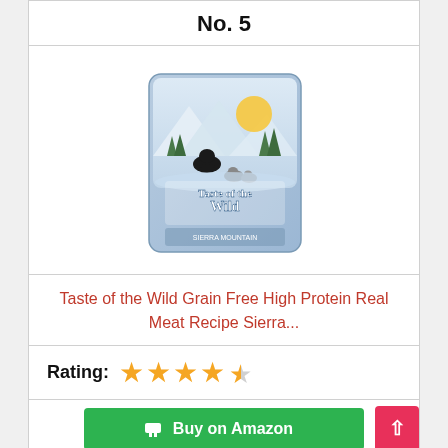No. 5
[Figure (photo): Taste of the Wild Sierra Mountain dog food bag — light purple/blue bag with a mountain landscape, a black dog, and wolves in snow. Text on bag: 'Taste of the Wild', 'Sierra Mountain']
Taste of the Wild Grain Free High Protein Real Meat Recipe Sierra...
Rating: ★★★★½
Buy on Amazon